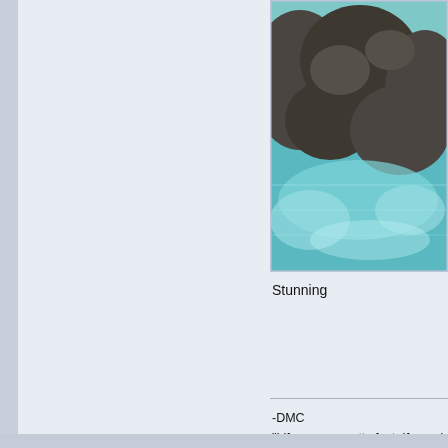[Figure (photo): Coastal rocky shoreline with turquoise/blue water, partially cropped at top and right edges]
Stunning
-DMC
"Life moves pretty fast. If you don't stop and look
Pages: [1] 2 3   Go Up
DansDeals.com Forums » DansDeals Forum » Trip Reports » Ten days in paradise: Ten